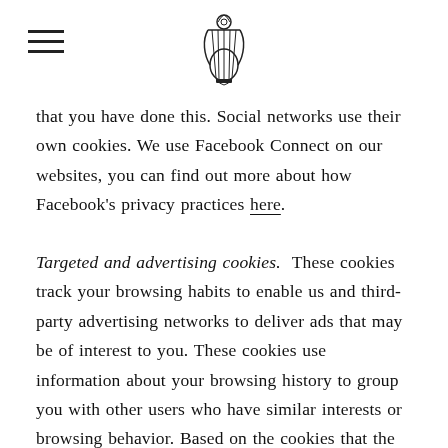[Logo: ornamental lyre emblem] [Hamburger menu icon]
that you have done this. Social networks use their own cookies. We use Facebook Connect on our websites, you can find out more about how Facebook's privacy practices here.
Targeted and advertising cookies. These cookies track your browsing habits to enable us and third-party advertising networks to deliver ads that may be of interest to you. These cookies use information about your browsing history to group you with other users who have similar interests or browsing behavior. Based on the cookies that the